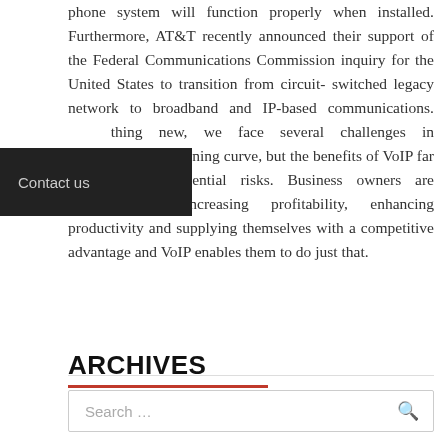phone system will function properly when installed. Furthermore, AT&T recently announced their support of the Federal Communications Commission inquiry for the United States to transition from circuit- switched legacy network to broadband and IP-based communications. [Contact us overlay] ...thing new, we face several challenges in overcoming the learning curve, but the benefits of VoIP far outweigh the potential risks. Business owners are interested in increasing profitability, enhancing productivity and supplying themselves with a competitive advantage and VoIP enables them to do just that.
Search ...
ARCHIVES